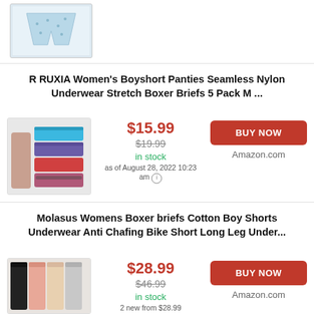[Figure (photo): Partial product image at top - patterned shorts/underwear in light blue/white]
R RUXIA Women's Boyshort Panties Seamless Nylon Underwear Stretch Boxer Briefs 5 Pack M ...
[Figure (photo): Product image showing colorful boyshort panties in turquoise, navy, purple, red/orange colors worn and stacked]
$15.99
$19.99
in stock
as of August 28, 2022 10:23 am
BUY NOW
Amazon.com
Molasus Womens Boxer briefs Cotton Boy Shorts Underwear Anti Chafing Bike Short Long Leg Under...
[Figure (photo): Product image showing women wearing long leg boxer briefs in black, pink, beige, grey colors]
$28.99
$46.99
in stock
2 new from $28.99
BUY NOW
Amazon.com